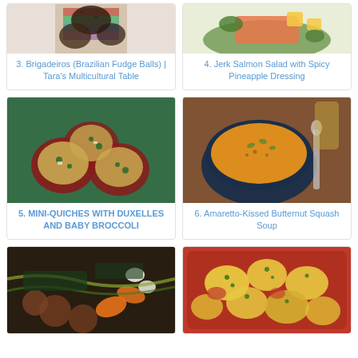[Figure (photo): Brigadeiros Brazilian fudge balls in colorful cupcake liners, partially cropped at top]
3. Brigadeiros (Brazilian Fudge Balls) | Tara's Multicultural Table
[Figure (photo): Jerk Salmon Salad with colorful vegetables on a white plate, partially cropped at top]
4. Jerk Salmon Salad with Spicy Pineapple Dressing
[Figure (photo): Mini quiches with duxelles and baby broccoli in red muffin tin]
5. MINI-QUICHES WITH DUXELLES AND BABY BROCCOLI
[Figure (photo): Amaretto-Kissed Butternut Squash Soup in a dark blue bowl with seeds on top]
6. Amaretto-Kissed Butternut Squash Soup
[Figure (photo): Italian meatball soup with vegetables, beans and noodles, partially cut off at bottom]
[Figure (photo): Cheesy biscuit topped casserole in a red cast iron dish, partially cut off at bottom]